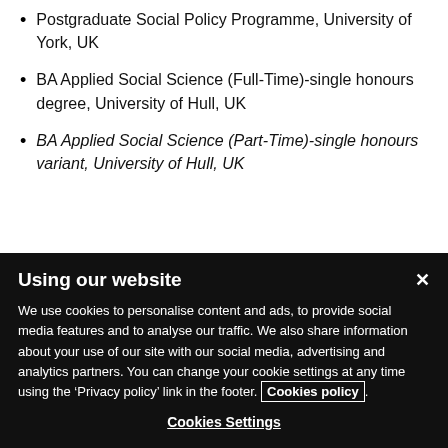Postgraduate Social Policy Programme, University of York, UK
BA Applied Social Science (Full-Time)-single honours degree, University of Hull, UK
BA Applied Social Science (Part-Time)-single honours variant, University of Hull, UK
Using our website
We use cookies to personalise content and ads, to provide social media features and to analyse our traffic. We also share information about your use of our site with our social media, advertising and analytics partners. You can change your cookie settings at any time using the ‘Privacy policy’ link in the footer. Cookies policy.
Cookies Settings